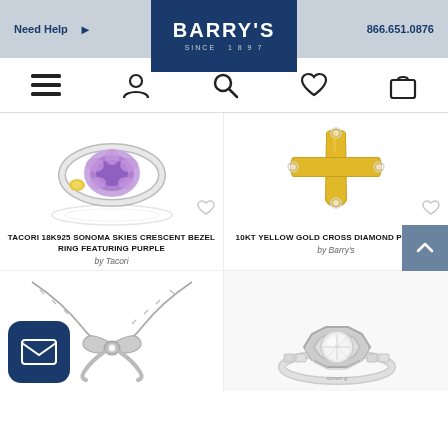Need Help  ▶   BARRY'S SINCE 1897   866.651.0876
[Figure (screenshot): Navigation bar with hamburger menu, user account, search, wishlist heart, and shopping bag icons]
[Figure (photo): Tacori 18K925 Sonoma Skies Crescent Bezel Ring featuring purple gemstone flower setting with yellow accent]
[Figure (photo): 10KT Yellow Gold Cross Diamond Pendant with flared ends and diamond accents]
TACORI 18K925 SONOMA SKIES CRESCENT BEZEL RING FEATURING PURPLE
by Tacori
10KT YELLOW GOLD CROSS DIAMOND PENDANT
by Barry's
[Figure (photo): Silver bow/ribbon necklace with diamond accent on a delicate chain]
[Figure (photo): Diamond halo engagement ring with white gold band and round center stone]